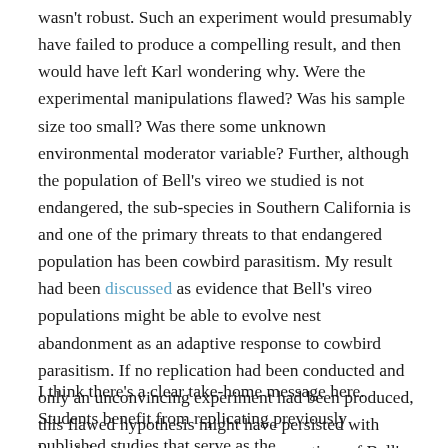wasn't robust. Such an experiment would presumably have failed to produce a compelling result, and then would have left Karl wondering why. Were the experimental manipulations flawed? Was his sample size too small? Was there some unknown environmental moderator variable? Further, although the population of Bell's vireo we studied is not endangered, the sub-species in Southern California is and one of the primary threats to that endangered population has been cowbird parasitism. My result had been discussed as evidence that Bell's vireo populations might be able to evolve nest abandonment as an adaptive response to cowbird parasitism. If no replication had been conducted and only an unconvincing experiment had been produced, this flawed hypothesis might have persisted with harmful outcomes to management practices of Bell's vireo in California.
I think there's a clear take-home message here. Students benefit from replicating previously published studies that serve as the